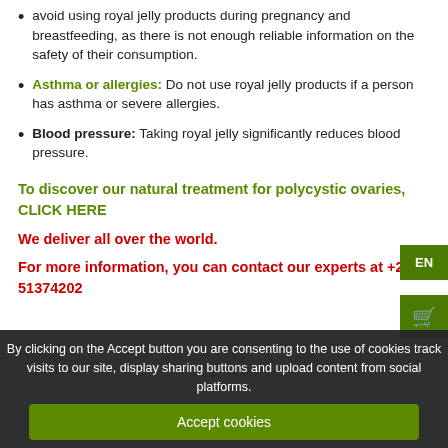avoid using royal jelly products during pregnancy and breastfeeding, as there is not enough reliable information on the safety of their consumption.
Asthma or allergies: Do not use royal jelly products if a person has asthma or severe allergies.
Blood pressure: Taking royal jelly significantly reduces blood pressure.
To discover our natural treatment for polycystic ovaries, CLICK HERE
We deliver all over the world.
For more information, you can contact our experts at +229 51374202
By clicking on the Accept button you are consenting to the use of cookies track visits to our site, display sharing buttons and upload content from social platforms.
Accept cookies
Decline cookies
PRODUCTS
FEMALE INFERTILITY: Herbs, Herbal teas, Roots, Plants